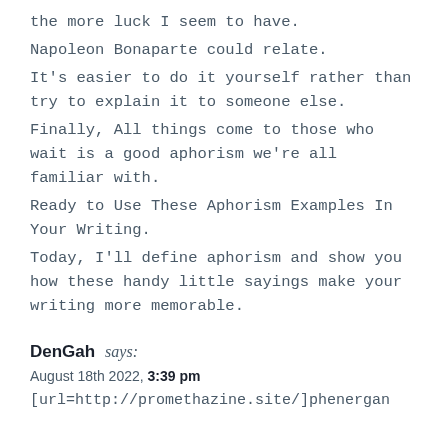the more luck I seem to have.
Napoleon Bonaparte could relate.
It's easier to do it yourself rather than try to explain it to someone else.
Finally, All things come to those who wait is a good aphorism we're all familiar with.
Ready to Use These Aphorism Examples In Your Writing.
Today, I'll define aphorism and show you how these handy little sayings make your writing more memorable.
DenGah says:
August 18th 2022, 3:39 pm
[url=http://promethazine.site/]phenergan